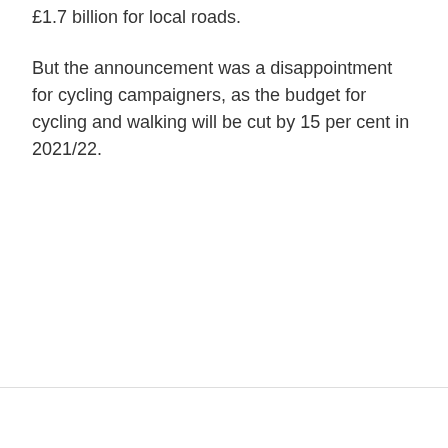£1.7 billion for local roads.
But the announcement was a disappointment for cycling campaigners, as the budget for cycling and walking will be cut by 15 per cent in 2021/22.